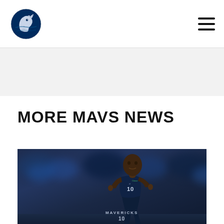Dallas Mavericks navigation bar with logo and hamburger menu
[Figure (logo): Dallas Mavericks team logo — horsehead in circle with blue and white colors]
MORE MAVS NEWS
[Figure (photo): Dallas Mavericks player wearing navy Mavericks #10 jersey running on court with blurred crowd in background]